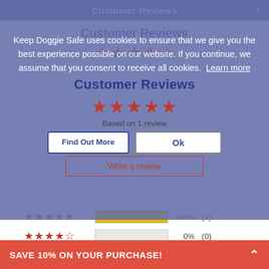Customer Reviews
Keep Doggie Safe uses cookies to ensure that we give you the best experience possible on our website. If you continue, we assume that you consent to receive all cookies. Learn more
Customer Reviews
[Figure (other): 5 red filled stars rating]
Based on 1 review
Find Out More | Ok
Write a review
[Figure (bar-chart): Star rating breakdown]
SAVE 10% ON YOUR PURCHASE!